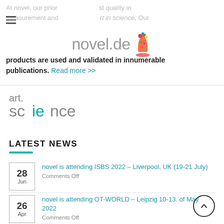At novel, our prior ... st quality in measurement and ... rt in science. Our products are used and validated in innumerable publications. Read more >>
[Figure (logo): novel.de logo with colorful foot/leg illustration]
[Figure (logo): art.science logo in teal and grey text]
LATEST NEWS
28 Jun - novel is attending ISBS 2022 – Liverpool, UK (19-21 July) - Comments Off
26 Apr - novel is attending OT-WORLD – Leipzig 10-13. of May 2022 - Comments Off